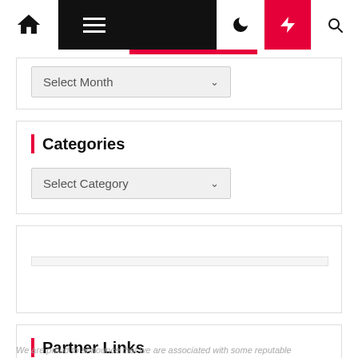[Figure (screenshot): Website navigation bar with home icon, hamburger menu, dark spacer, moon icon, red lightning bolt icon, and search icon]
Select Month
Categories
Select Category
Partner Links